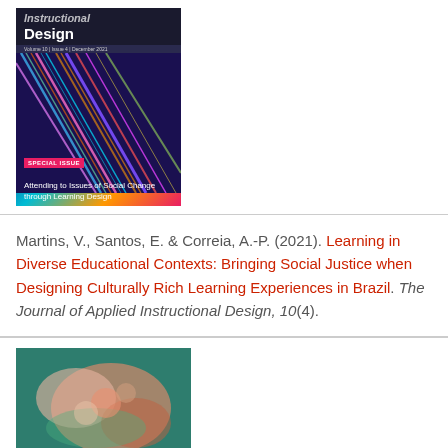[Figure (photo): Cover of The Journal of Applied Instructional Design, Volume 10, Issue 4, December 2021. Special issue: Attending to Issues of Social Change through Learning Design. Dark background with colorful light streaks.]
Martins, V., Santos, E. & Correia, A.-P. (2021). Learning in Diverse Educational Contexts: Bringing Social Justice when Designing Culturally Rich Learning Experiences in Brazil. The Journal of Applied Instructional Design, 10(4).
[Figure (photo): Cover of a Routledge Research in Educational Equality and Diversity book titled GLOBAL PERSPECTIVES ON MICROAGGRESSIONS. Top portion shows abstract coral/teal microscopic imagery.]